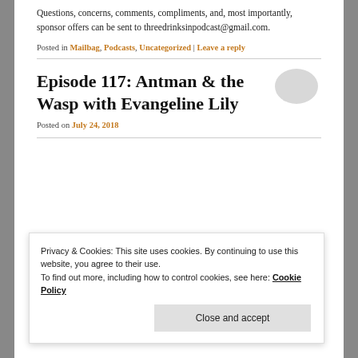Questions, concerns, comments, compliments, and, most importantly, sponsor offers can be sent to threedrinksinpodcast@gmail.com.
Posted in Mailbag, Podcasts, Uncategorized | Leave a reply
Episode 117: Antman & the Wasp with Evangeline Lily
Posted on July 24, 2018
Privacy & Cookies: This site uses cookies. By continuing to use this website, you agree to their use.
To find out more, including how to control cookies, see here: Cookie Policy